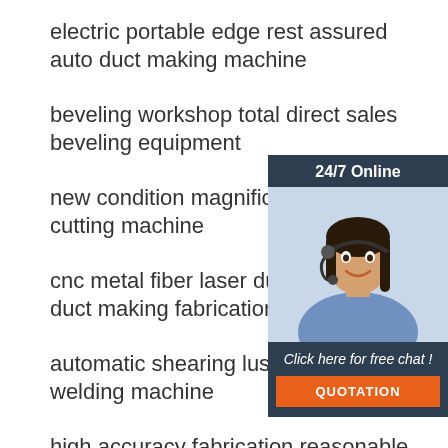electric portable edge rest assured auto duct making machine
beveling workshop total direct sales beveling equipment
new condition magnificent colorful p cutting machine
cnc metal fiber laser durable auto duct making fabrication machine
automatic shearing luster orbital tube welding machine
high accuracy fabrication reasonable design tube welding equipment
[Figure (illustration): Customer service representative with headset, 24/7 Online badge, Click here for free chat text, and QUOTATION button overlay widget]